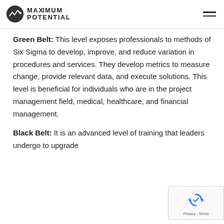Maximum Potential logo and navigation
Green Belt: This level exposes professionals to methods of Six Sigma to develop, improve, and reduce variation in procedures and services. They develop metrics to measure change, provide relevant data, and execute solutions. This level is beneficial for individuals who are in the project management field, medical, healthcare, and financial management.
Black Belt: It is an advanced level of training that leaders undergo to upgrade